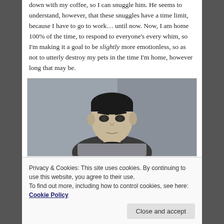down with my coffee, so I can snuggle him. He seems to understand, however, that these snuggles have a time limit, because I have to go to work… until now. Now, I am home 100% of the time, to respond to everyone's every whim, so I'm making it a goal to be slightly more emotionless, so as not to utterly destroy my pets in the time I'm home, however long that may be.
[Figure (photo): Black and white photo of Mr. Spock (Leonard Nimoy) from Star Trek, looking stoic and emotionless, wearing a Starfleet uniform.]
Privacy & Cookies: This site uses cookies. By continuing to use this website, you agree to their use. To find out more, including how to control cookies, see here: Cookie Policy
Goal 6: Don't Spend Money